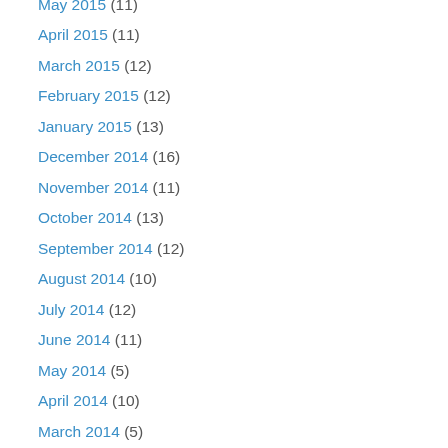May 2015 (11)
April 2015 (11)
March 2015 (12)
February 2015 (12)
January 2015 (13)
December 2014 (16)
November 2014 (11)
October 2014 (13)
September 2014 (12)
August 2014 (10)
July 2014 (12)
June 2014 (11)
May 2014 (5)
April 2014 (10)
March 2014 (5)